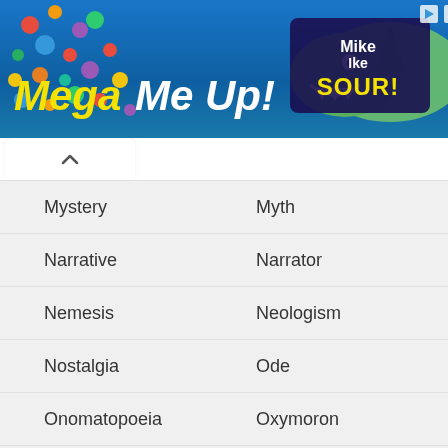[Figure (screenshot): Advertising banner for Mike and Ike Mega Me Up candy with a smiling shark character and colorful candies on a blue ocean background]
Mystery	Myth
Narrative	Narrator
Nemesis	Neologism
Nostalgia	Ode
Onomatopoeia	Oxymoron
Palindrome	Parable